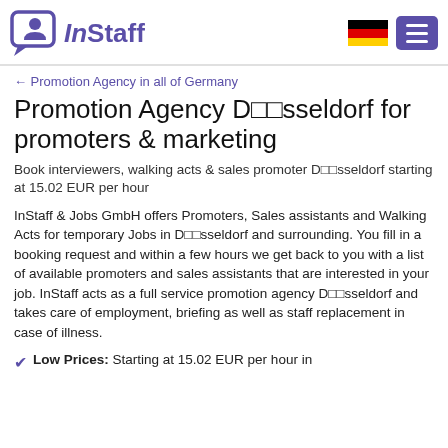InStaff — logo and navigation header
← Promotion Agency in all of Germany
Promotion Agency D??sseldorf for promoters & marketing
Book interviewers, walking acts & sales promoter D??sseldorf starting at 15.02 EUR per hour
InStaff & Jobs GmbH offers Promoters, Sales assistants and Walking Acts for temporary Jobs in D??sseldorf and surrounding. You fill in a booking request and within a few hours we get back to you with a list of available promoters and sales assistants that are interested in your job. InStaff acts as a full service promotion agency D??sseldorf and takes care of employment, briefing as well as staff replacement in case of illness.
Low Prices: Starting at 15.02 EUR per hour in